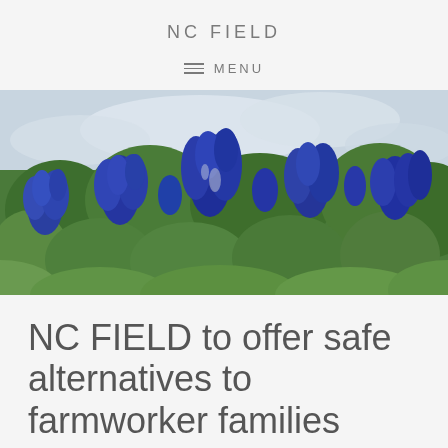NC FIELD
≡ MENU
[Figure (photo): A field of blue wildflowers (bluebonnets) with green foliage under a cloudy sky]
NC FIELD to offer safe alternatives to farmworker families